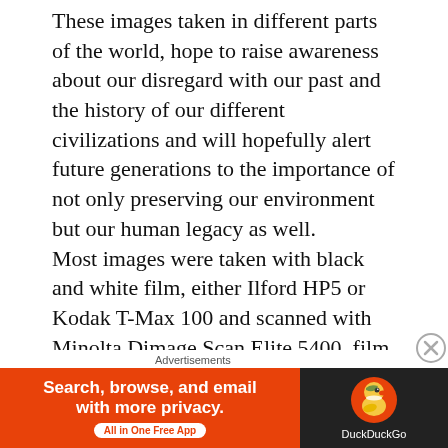These images taken in different parts of the world, hope to raise awareness about our disregard with our past and the history of our different civilizations and will hopefully alert future generations to the importance of not only preserving our environment but our human legacy as well. Most images were taken with black and white film, either Ilford HP5 or Kodak T-Max 100 and scanned with Minolta Dimage Scan Elite 5400, film scanner. I later applied –using Photoshop — a platinum toning effect, simulating the photographic style that became famous in the
[Figure (infographic): DuckDuckGo advertisement banner: 'Search, browse, and email with more privacy. All in One Free App' on orange background with DuckDuckGo logo on dark background.]